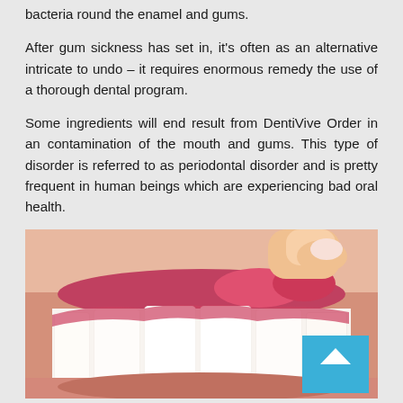bacteria round the enamel and gums.
After gum sickness has set in, it's often as an alternative intricate to undo – it requires enormous remedy the use of a thorough dental program.
Some ingredients will end result from DentiVive Order in an contamination of the mouth and gums. This type of disorder is referred to as periodontal disorder and is pretty frequent in human beings which are experiencing bad oral health.
[Figure (photo): Close-up photograph of a person's smile showing teeth and inflamed/red gums, with a finger pointing at the gum line. A blue scroll-to-top button is visible in the bottom-right corner.]